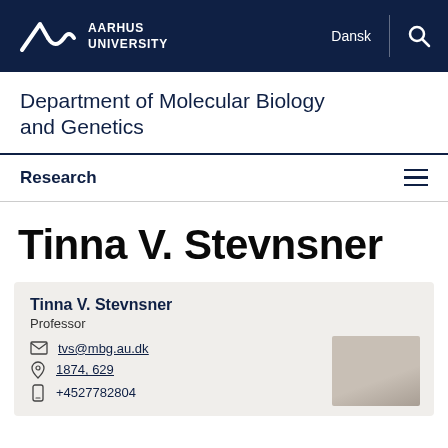AARHUS UNIVERSITY
Department of Molecular Biology and Genetics
Research
Tinna V. Stevnsner
Tinna V. Stevnsner
Professor
tvs@mbg.au.dk
1874, 629
+4527782804